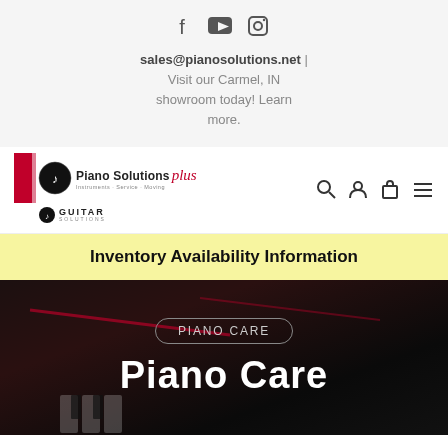[Figure (other): Social media icons: Facebook, YouTube, Instagram]
sales@pianosolutions.net | Visit our Carmel, IN showroom today! Learn more.
[Figure (logo): Piano Solutions Plus and Guitar Solutions logo with navigation icons (search, account, cart, menu)]
Inventory Availability Information
[Figure (photo): Dark background photo of piano keys with red accent lines]
PIANO CARE
Piano Care